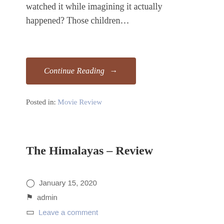watched it while imagining it actually happened? Those children…
Continue Reading →
Posted in: Movie Review
The Himalayas – Review
January 15, 2020
admin
Leave a comment